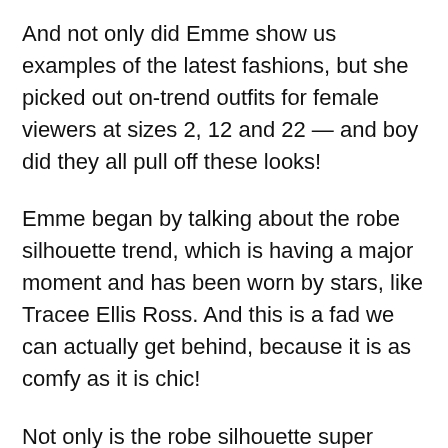And not only did Emme show us examples of the latest fashions, but she picked out on-trend outfits for female viewers at sizes 2, 12 and 22 — and boy did they all pull off these looks!
Emme began by talking about the robe silhouette trend, which is having a major moment and has been worn by stars, like Tracee Ellis Ross. And this is a fad we can actually get behind, because it is as comfy as it is chic!
Not only is the robe silhouette super flattering on any body type, but it's also about as close as you can get to actually wearing your pajamas out on the town.
Emme helped three of our viewers take bedroom-